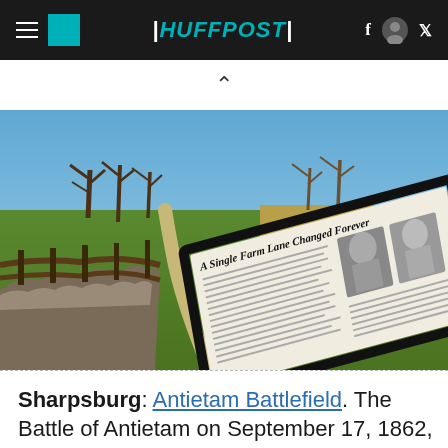HUFFPOST
[Figure (photo): Antietam Battlefield historical site photo showing a winding path, stone fences, open fields, bare trees, and an informational sign in the foreground reading 'A Single Farm Lane Changed Forever']
Sharpsburg: Antietam Battlefield. The Battle of Antietam on September 17, 1862, pitting 75,300 Union soldiers against 52,000 Confederate troops, was the bloodiest day of the Civil War...